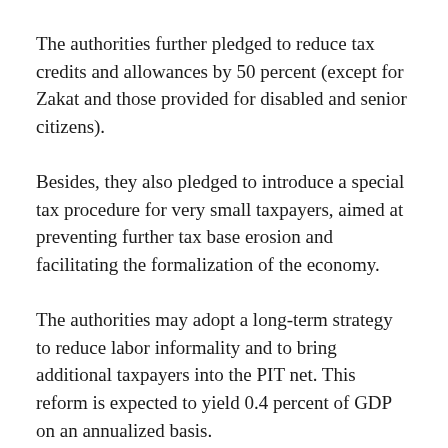The authorities further pledged to reduce tax credits and allowances by 50 percent (except for Zakat and those provided for disabled and senior citizens).
Besides, they also pledged to introduce a special tax procedure for very small taxpayers, aimed at preventing further tax base erosion and facilitating the formalization of the economy.
The authorities may adopt a long-term strategy to reduce labor informality and to bring additional taxpayers into the PIT net. This reform is expected to yield 0.4 percent of GDP on an annualized basis.
For the broadening and harmonizing the General Sales Tax (GST) base, the authorities assured the IMF through its Letter of Intent (LoI) signed by the finance